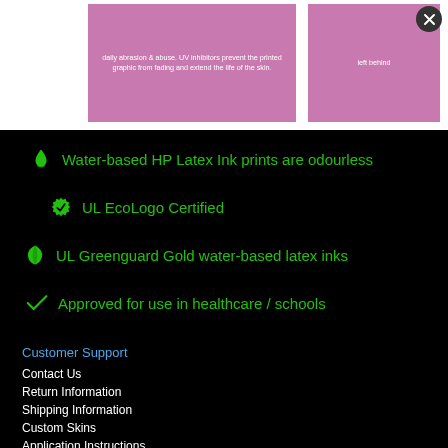[Figure (photo): Two pink product card panels showing text about UV inhibitors and daily abrasion protection]
Water-based HP Latex Ink prints are odourless
UL EcoLogo Certified
UL Greenguard Gold water-based latex inks
Approved for use in healthcare / schools
Customer Support
Contact Us
Return Information
Shipping Information
Custom Skins
Application Instructions
Frequently Asked Questions